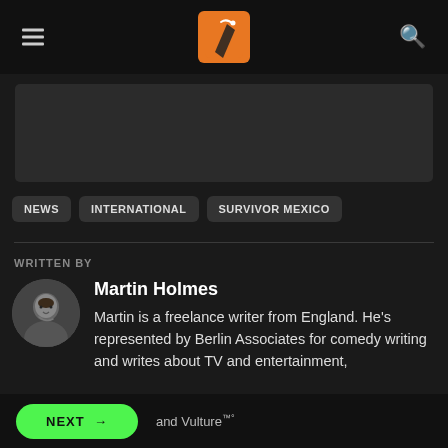Navigation header with hamburger menu, site logo, and search icon
[Figure (screenshot): Dark banner/image placeholder area]
NEWS
INTERNATIONAL
SURVIVOR MEXICO
WRITTEN BY
[Figure (photo): Circular author avatar photo of Martin Holmes]
Martin Holmes
Martin is a freelance writer from England. He’s represented by Berlin Associates for comedy writing and writes about TV and entertainment, and Vulture™°
NEXT → and Vulture™°